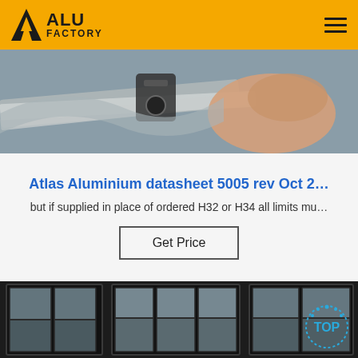ALU FACTORY
[Figure (photo): Close-up photo of a hand bending/testing an aluminium sheet with a gauge tool]
Atlas Aluminium datasheet 5005 rev Oct 2…
but if supplied in place of ordered H32 or H34 all limits mu…
Get Price
[Figure (photo): Interior photo of dark-framed aluminium windows in a building, with a TOP circular badge overlay in the bottom right]